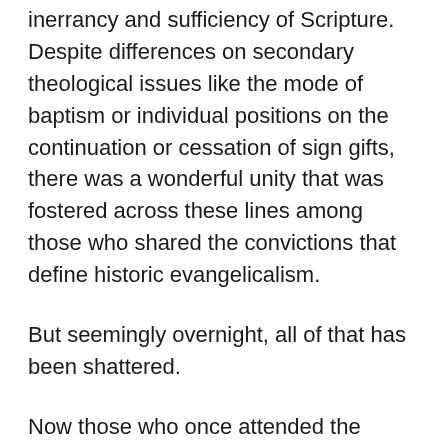inerrancy and sufficiency of Scripture. Despite differences on secondary theological issues like the mode of baptism or individual positions on the continuation or cessation of sign gifts, there was a wonderful unity that was fostered across these lines among those who shared the convictions that define historic evangelicalism.
But seemingly overnight, all of that has been shattered.
Now those who once attended the same conferences and even shared the same pulpits at those events are taking sides along what Voddie Baucham calls the Fault Lines created by the Social Justice Movement in general, and Critical Race